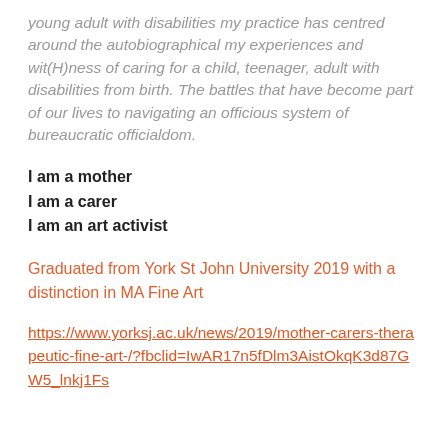young adult with disabilities my practice has centred around the autobiographical my experiences and wit(H)ness of caring for a child, teenager, adult with disabilities from birth. The battles that have become part of our lives to navigating an officious system of bureaucratic officialdom.
I am a mother
I am a carer
I am an art activist
Graduated from York St John University 2019 with a distinction in MA Fine Art
https://www.yorksj.ac.uk/news/2019/mother-carers-therapeutic-fine-art-/?fbclid=IwAR17n5fDlm3AistOkqK3d87GW5_lnkj1Fs